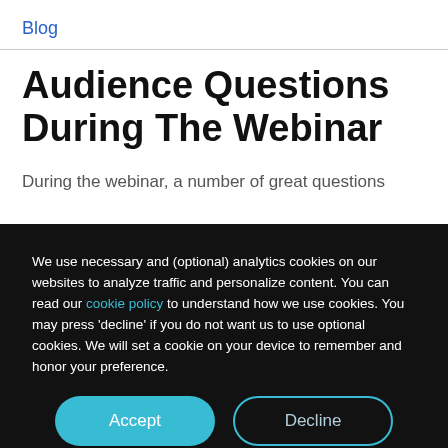Blog
Audience Questions During The Webinar
During the webinar, a number of great questions
We use necessary and (optional) analytics cookies on our websites to analyze traffic and personalize content. You can read our cookie policy to understand how we use cookies. You may press 'decline' if you do not want us to use optional cookies. We will set a cookie on your device to remember and honor your preference.